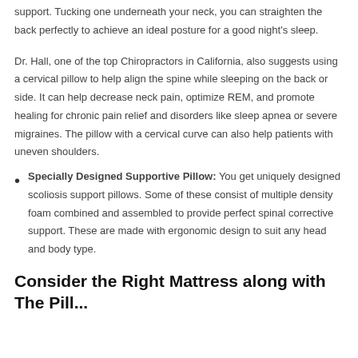support. Tucking one underneath your neck, you can straighten the back perfectly to achieve an ideal posture for a good night's sleep.
Dr. Hall, one of the top Chiropractors in California, also suggests using a cervical pillow to help align the spine while sleeping on the back or side. It can help decrease neck pain, optimize REM, and promote healing for chronic pain relief and disorders like sleep apnea or severe migraines. The pillow with a cervical curve can also help patients with uneven shoulders.
Specially Designed Supportive Pillow: You get uniquely designed scoliosis support pillows. Some of these consist of multiple density foam combined and assembled to provide perfect spinal corrective support. These are made with ergonomic design to suit any head and body type.
Consider the Right Mattress along with The Pill...